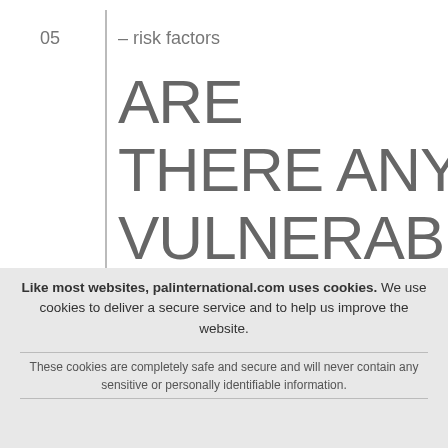05
– risk factors
ARE THERE ANY VULNERABLE GROUPS?
Like most websites, palinternational.com uses cookies. We use cookies to deliver a secure service and to help us improve the website.
These cookies are completely safe and secure and will never contain any sensitive or personally identifiable information.
Accept
Our Cookie Policy